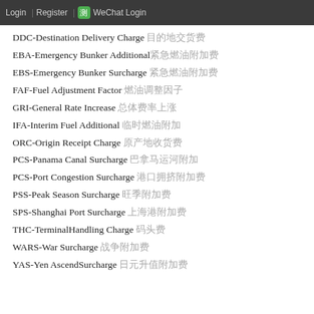Login | Register | WeChat Login
DDC-Destination Delivery Charge 目的地交货费
EBA-Emergency Bunker Additional 紧急燃油附加费
EBS-Emergency Bunker Surcharge 紧急燃油附加费
FAF-Fuel Adjustment Factor 燃油调整因子
GRI-General Rate Increase 总体费率上涨
IFA-Interim Fuel Additional 临时燃油附加
ORC-Origin Receipt Charge 原产地收货费
PCS-Panama Canal Surcharge 巴拿马运河附加费
PCS-Port Congestion Surcharge 港口拥挤附加费
PSS-Peak Season Surcharge 旺季附加费
SPS-Shanghai Port Surcharge 上海港附加费
THC-TerminalHandling Charge 码头费
WARS-War Surcharge 战争附加费
YAS-Yen AscendSurcharge 日元升值附加费